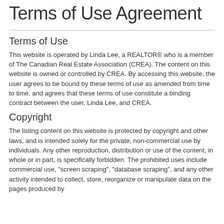Terms of Use Agreement
Terms of Use
This website is operated by Linda Lee, a REALTOR® who is a member of The Canadian Real Estate Association (CREA). The content on this website is owned or controlled by CREA. By accessing this website, the user agrees to be bound by these terms of use as amended from time to time, and agrees that these terms of use constitute a binding contract between the user, Linda Lee, and CREA.
Copyright
The listing content on this website is protected by copyright and other laws, and is intended solely for the private, non-commercial use by individuals. Any other reproduction, distribution or use of the content, in whole or in part, is specifically forbidden. The prohibited uses include commercial use, "screen scraping", "database scraping", and any other activity intended to collect, store, reorganize or manipulate data on the pages produced by